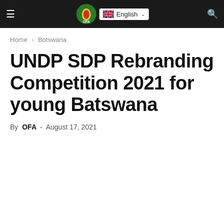≡  OFA  English  🔍
Home › Botswana
UNDP SDP Rebranding Competition 2021 for young Batswana
By OFA - August 17, 2021